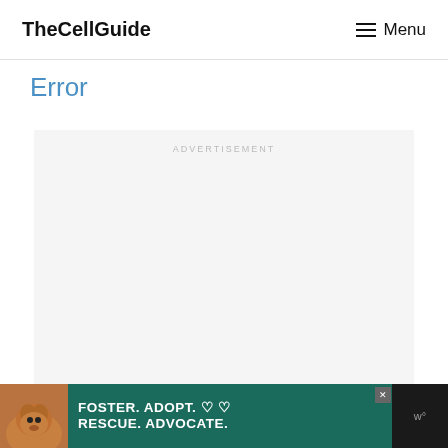TheCellGuide  Menu
Error
[Figure (other): Advertisement placeholder box with light gray background and 'ADVERTISEMENT' label text at top center]
[Figure (other): Bottom banner advertisement: dark teal background with a brown dog photo on left, bold white text 'FOSTER. ADOPT. ♡ ♡ RESCUE. ADVOCATE.' with close button and 'w°' logo on right]